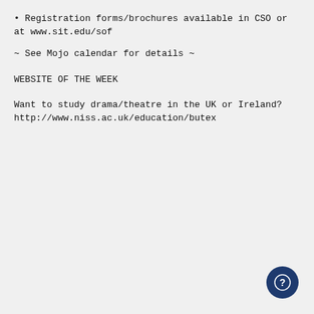• Registration forms/brochures available in CSO or at www.sit.edu/sof
~ See Mojo calendar for details ~
WEBSITE OF THE WEEK
Want to study drama/theatre in the UK or Ireland? http://www.niss.ac.uk/education/butex